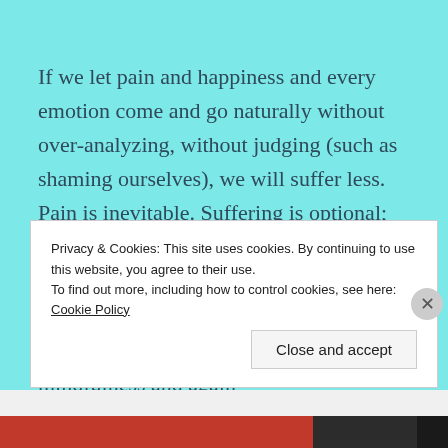If we let pain and happiness and every emotion come and go naturally without over-analyzing, without judging (such as shaming ourselves), we will suffer less. Pain is inevitable. Suffering is optional; we create it This has always been so. Yes, victims of trauma suffer from our experiences. And as part of our most vital, life-saving medicine, we can learn mindfulness and again
Privacy & Cookies: This site uses cookies. By continuing to use this website, you agree to their use.
To find out more, including how to control cookies, see here: Cookie Policy
Close and accept